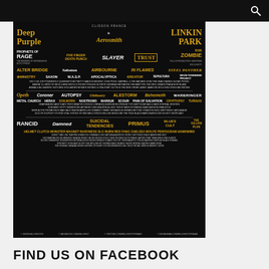[Figure (infographic): Hellfest music festival poster featuring Deep Purple, Aerosmith, Linkin Park as headliners, along with many other metal and rock bands listed in decreasing font sizes. Black background with gold and white text. Social media links at bottom.]
FIND US ON FACEBOOK